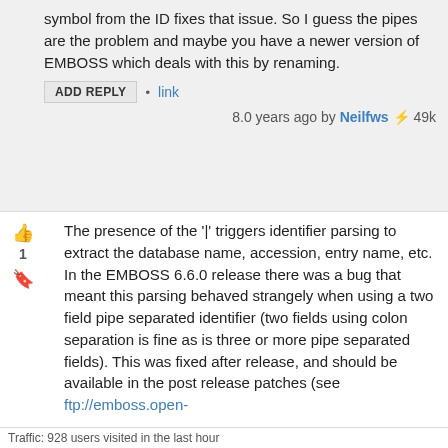symbol from the ID fixes that issue. So I guess the pipes are the problem and maybe you have a newer version of EMBOSS which deals with this by renaming.
ADD REPLY • link
8.0 years ago by Neilfws ⚡ 49k
The presence of the '|' triggers identifier parsing to extract the database name, accession, entry name, etc. In the EMBOSS 6.6.0 release there was a bug that meant this parsing behaved strangely when using a two field pipe separated identifier (two fields using colon separation is fine as is three or more pipe separated fields). This was fixed after release, and should be available in the post release patches (see ftp://emboss.open-bio.org/pub/EMBOSS/fixes/).
Traffic: 928 users visited in the last hour